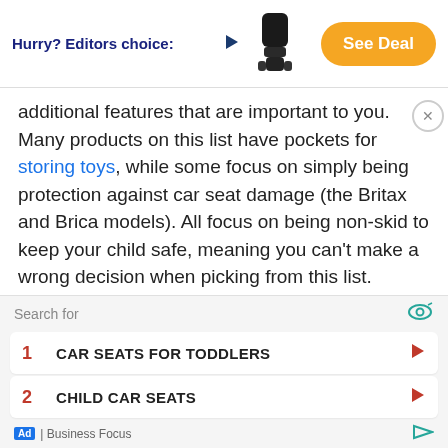[Figure (other): Ad banner: Hurry? Editors choice: with arrow, car seat product image, and orange See Deal button]
additional features that are important to you. Many products on this list have pockets for storing toys, while some focus on simply being protection against car seat damage (the Britax and Brica models). All focus on being non-skid to keep your child safe, meaning you can't make a wrong decision when picking from this list.
Sources
1. CSFTL – Seat Protectors
2. CSFTL – Seat Protectors At a Glance
3. A Mother Far From Home – How to Keep a Clean Car
[Figure (other): Bottom advertisement overlay with search bar, two search items (CAR SEATS FOR TODDLERS, CHILD CAR SEATS), and Business Focus ad footer]